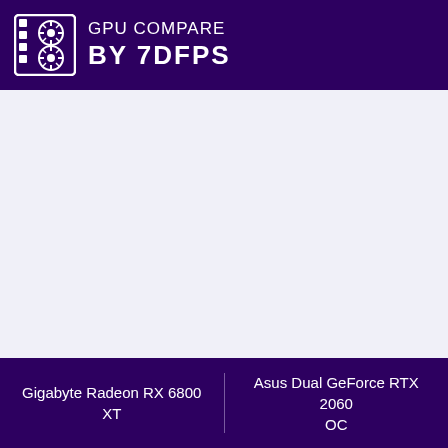GPU COMPARE BY 7DFPS
Gigabyte Radeon RX 6800 XT | Asus Dual GeForce RTX 2060 OC